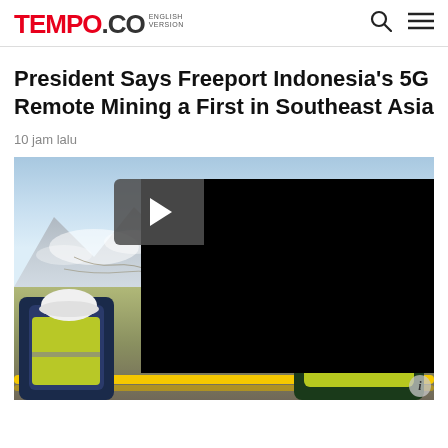TEMPO.CO ENGLISH VERSION
President Says Freeport Indonesia's 5G Remote Mining a First in Southeast Asia
10 jam lalu
[Figure (photo): Mine workers wearing yellow high-visibility vests and hard hats at a mountain mining site (Freeport Indonesia). A video overlay panel covers the right portion of the image. A yellow safety barrier pipe is visible in the foreground.]